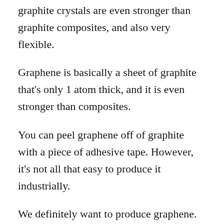graphite crystals are even stronger than graphite composites, and also very flexible.
Graphene is basically a sheet of graphite that's only 1 atom thick, and it is even stronger than composites.
You can peel graphene off of graphite with a piece of adhesive tape. However, it's not all that easy to produce it industrially.
We definitely want to produce graphene. The thinnest material known, graphene is also the strongest. It conducts electricity and heat better than any material known.